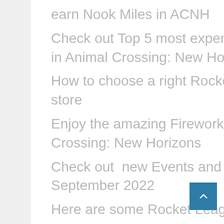earn Nook Miles in ACNH
Check out Top 5 most expensive items you can collect in Animal Crossing: New Horizons
How to choose a right Rocket League Trading online store
Enjoy the amazing Firework shows in August in Animal Crossing: New Horizons
Check out  new Events and seasonal items in ACNH September 2022
Here are some Rocket League Guides for beginner
Here are some good weapons for beginner to play Elden Ring